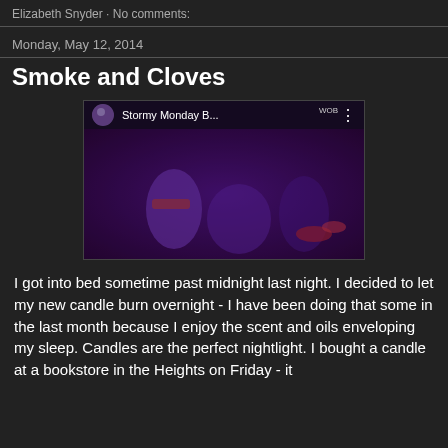Elizabeth Snyder · No comments:
Monday, May 12, 2014
Smoke and Cloves
[Figure (screenshot): YouTube video embed showing a live music performance with musicians playing guitar and drums on a purple-lit stage. The video title reads 'Stormy Monday B...' with a YouTube play button overlay. A three-dot menu icon appears on the right and 'WOB' text in the top right corner.]
I got into bed sometime past midnight last night. I decided to let my new candle burn overnight - I have been doing that some in the last month because I enjoy the scent and oils enveloping my sleep. Candles are the perfect nightlight. I bought a candle at a bookstore in the Heights on Friday - it